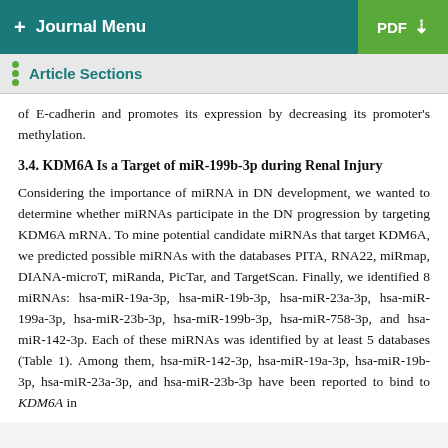+ Journal Menu | PDF
Article Sections
of E-cadherin and promotes its expression by decreasing its promoter's methylation.
3.4. KDM6A Is a Target of miR-199b-3p during Renal Injury
Considering the importance of miRNA in DN development, we wanted to determine whether miRNAs participate in the DN progression by targeting KDM6A mRNA. To mine potential candidate miRNAs that target KDM6A, we predicted possible miRNAs with the databases PITA, RNA22, miRmap, DIANA-microT, miRanda, PicTar, and TargetScan. Finally, we identified 8 miRNAs: hsa-miR-19a-3p, hsa-miR-19b-3p, hsa-miR-23a-3p, hsa-miR-199a-3p, hsa-miR-23b-3p, hsa-miR-199b-3p, hsa-miR-758-3p, and hsa-miR-142-3p. Each of these miRNAs was identified by at least 5 databases (Table 1). Among them, hsa-miR-142-3p, hsa-miR-19a-3p, hsa-miR-19b-3p, hsa-miR-23a-3p, and hsa-miR-23b-3p have been reported to bind to KDM6A in